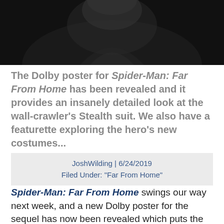[Figure (photo): Dark close-up photo of Spider-Man in Stealth suit, nearly silhouetted against black background]
The Dolby poster for Spider-Man: Far From Home has been revealed and it provides an insanely detailed look at the wall-crawler's Stealth suit. We also have a featurette exploring the hero's new costumes...
JoshWilding | 6/24/2019
Filed Under: "Far From Home"
Spider-Man: Far From Home swings our way next week, and a new Dolby poster for the sequel has now been revealed which puts the spotlight solely on Peter Parker's new Stealth suit.